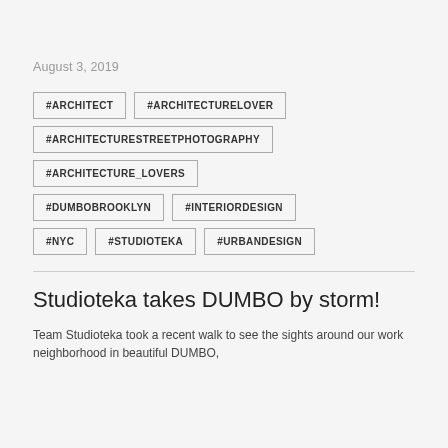August 3, 2019
#ARCHITECT
#ARCHITECTURELOVER
#ARCHITECTURESTREETPHOTOGRAPHY
#ARCHITECTURE_LOVERS
#DUMBOBROOKLYN
#INTERIORDESIGN
#NYC
#STUDIOTEKA
#URBANDESIGN
Studioteka takes DUMBO by storm!
Team Studioteka took a recent walk to see the sights around our work neighborhood in beautiful DUMBO,